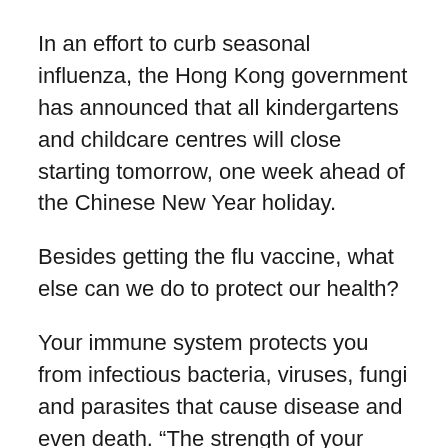In an effort to curb seasonal influenza, the Hong Kong government has announced that all kindergartens and childcare centres will close starting tomorrow, one week ahead of the Chinese New Year holiday.
Besides getting the flu vaccine, what else can we do to protect our health?
Your immune system protects you from infectious bacteria, viruses, fungi and parasites that cause disease and even death. “The strength of your immune system is what determines who gets sick and who doesn’t,” explains Woodson Merrell, MD, director of integrative medicine at Beth Israel Medical Center in New York City. We know that adequate sleep, regular exercise, limiting alcohol consumption and not smoking are essential to good health, but what more can we do to improve our